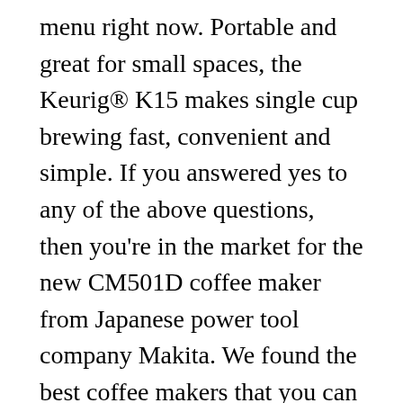menu right now. Portable and great for small spaces, the Keurig® K15 makes single cup brewing fast, convenient and simple. If you answered yes to any of the above questions, then you're in the market for the new CM501D coffee maker from Japanese power tool company Makita. We found the best coffee makers that you can pack up and take with you on your next camping trip. Although you're sans electricity in the great outdoors, you can still enjoy a fresh cup of Joe in minutes.We found the best coffee makers that you can pack up and take with you on your next camping ... Some campers, RV owners, and boaters do not want the 'old-fashioned' camping ... What